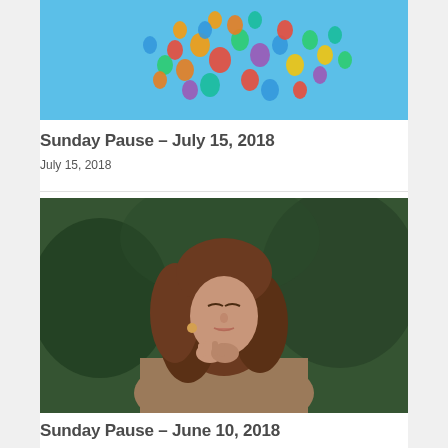[Figure (photo): Colorful balloons floating in a blue sky]
Sunday Pause – July 15, 2018
July 15, 2018
[Figure (photo): Young woman with long hair, eyes closed, hands clasped near her face, outdoors with green foliage background]
Sunday Pause – June 10, 2018